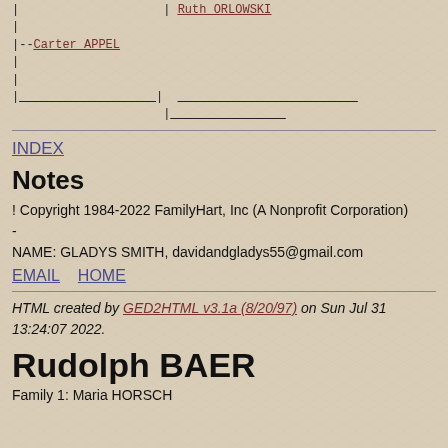| Ruth ORLOWSKI
|
|--Carter APPEL
|
|
|___________________| _________________________
                     |________________
INDEX
Notes
! Copyright 1984-2022 FamilyHart, Inc (A Nonprofit Corporation)
-
NAME: GLADYS SMITH, davidandgladys55@gmail.com
EMAIL  HOME
HTML created by GED2HTML v3.1a (8/20/97) on Sun Jul 31 13:24:07 2022.
Rudolph BAER
Family 1: Maria HORSCH